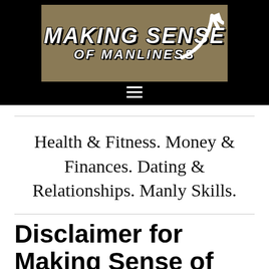[Figure (logo): Making Sense of Manliness website logo on dark golden/tan background with arrow graphic, set inside a black header bar with hamburger menu icon below.]
Health & Fitness. Money & Finances. Dating & Relationships. Manly Skills.
Disclaimer for Making Sense of Manliness
You agree to receive information and